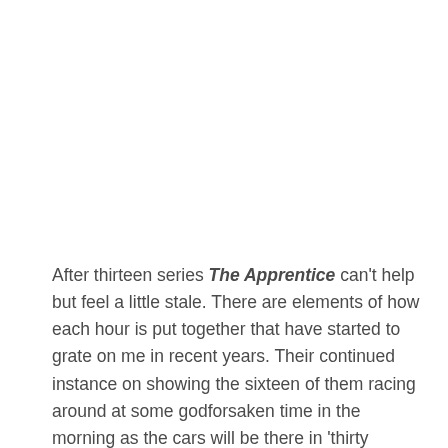After thirteen series The Apprentice can't help but feel a little stale. There are elements of how each hour is put together that have started to grate on me in recent years. Their continued instance on showing the sixteen of them racing around at some godforsaken time in the morning as the cars will be there in 'thirty minutes'.  I live with three other people and we